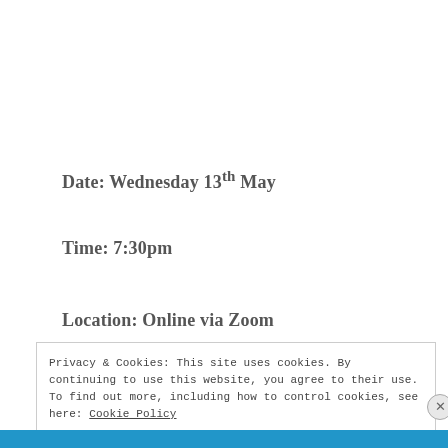Date: Wednesday 13th May
Time: 7:30pm
Location: Online via Zoom
Privacy & Cookies: This site uses cookies. By continuing to use this website, you agree to their use.
To find out more, including how to control cookies, see here: Cookie Policy
Close and accept